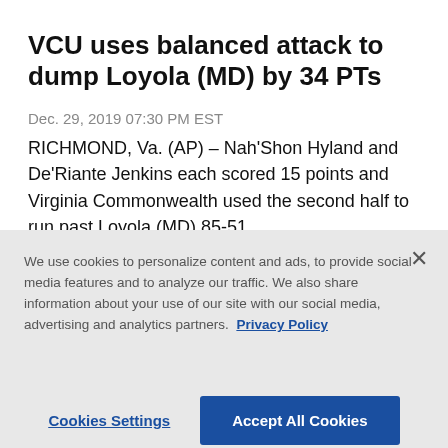VCU uses balanced attack to dump Loyola (MD) by 34 PTs
Dec. 29, 2019 07:30 PM EST
RICHMOND, Va. (AP) – Nah'Shon Hyland and De'Riante Jenkins each scored 15 points and Virginia Commonwealth used the second half to run past Loyola (MD) 85-51...
We use cookies to personalize content and ads, to provide social media features and to analyze our traffic. We also share information about your use of our site with our social media, advertising and analytics partners. Privacy Policy
Cookies Settings
Accept All Cookies